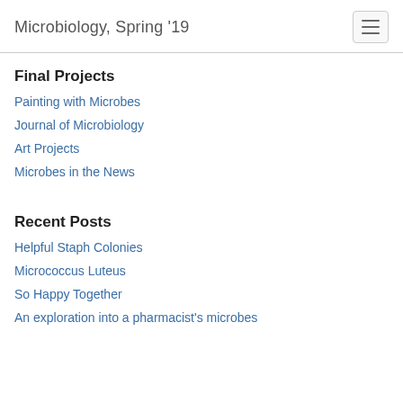Microbiology, Spring '19
Final Projects
Painting with Microbes
Journal of Microbiology
Art Projects
Microbes in the News
Recent Posts
Helpful Staph Colonies
Micrococcus Luteus
So Happy Together
An exploration into a pharmacist's microbes